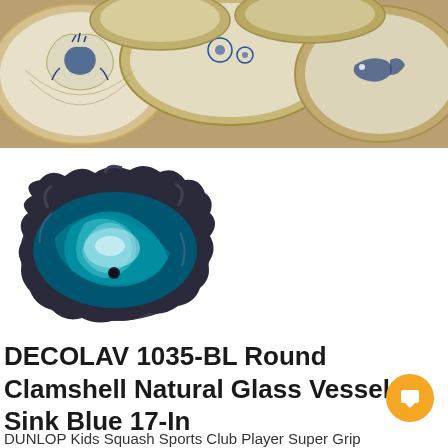[Figure (photo): Decorated oyster/clamshells with blue and white Chinese-style marine pattern paintings (lobster, fish, seaweed) on gold shells arranged together]
[Figure (photo): DECOLAV round clamshell-shaped glass vessel sink in blue and white swirled pattern, viewed from above at an angle]
DECOLAV 1035-BL Round Clamshell Natural Glass Vessel Sink Blue 17-In
DUNLOP Kids Squash Sports Club Player Super Grip